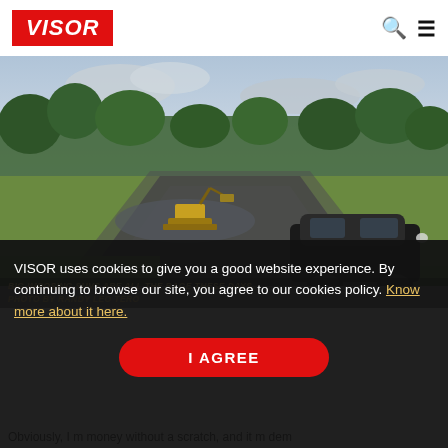VISOR
[Figure (photo): Outdoor scene with a dark SUV in the foreground on a dirt/gravel path, construction equipment (excavator) in the middle distance, green grass hills and trees in the background under a cloudy sky.]
Big imposing SUVs are all the rage these days. PHOTO BY RANDY LEO TERO
VISOR uses cookies to give you a good website experience. By continuing to browse our site, you agree to our cookies policy. Know more about it here.
Obviously, I m… money without a scratch, and it m… dem